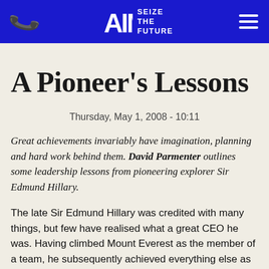AIM SEIZE THE FUTURE
A Pioneer's Lessons
Thursday, May 1, 2008 - 10:11
Great achievements invariably have imagination, planning and hard work behind them. David Parmenter outlines some leadership lessons from pioneering explorer Sir Edmund Hillary.
The late Sir Edmund Hillary was credited with many things, but few have realised what a great CEO he was. Having climbed Mount Everest as the member of a team, he subsequently achieved everything else as the leader...